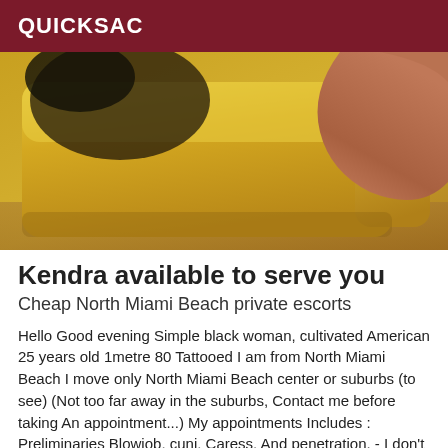QUICKSAC
[Figure (photo): Photo showing a yellow sofa/couch with dark clothing item on the left side and a person's skin/arm visible on the right side]
Kendra available to serve you
Cheap North Miami Beach private escorts
Hello Good evening Simple black woman, cultivated American 25 years old 1metre 80 Tattooed I am from North Miami Beach I move only North Miami Beach center or suburbs (to see) (Not too far away in the suburbs, Contact me before taking An appointment...) My appointments Includes : Preliminaries Blowjob, cuni, Caress, And penetration. - I don't do rates Separated... - Mutch more No crude, Aucine relation Tarif d'une heure I